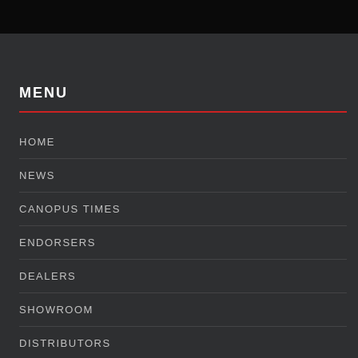MENU
HOME
NEWS
CANOPUS TIMES
ENDORSERS
DEALERS
SHOWROOM
DISTRIBUTORS
SALES REPS
RENTALS